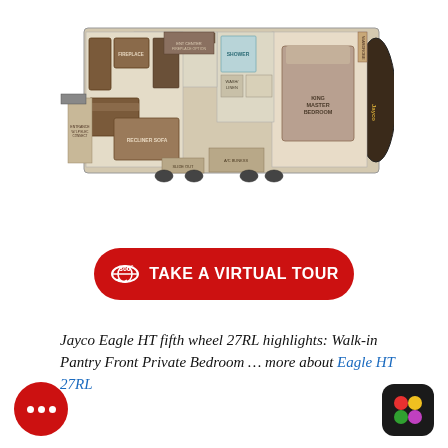[Figure (schematic): Top-down floor plan schematic of a Jayco Eagle HT 27RL fifth wheel RV, showing interior layout with living area, kitchen, bathroom with shower, and front private bedroom with king-size bed. Brown furniture and cabinetry on beige floor, with Jayco branding on the front (right side) of the vehicle.]
[Figure (other): Red rounded-rectangle button with 360-degree icon and white bold text reading 'TAKE A VIRTUAL TOUR']
Jayco Eagle HT fifth wheel 27RL highlights: Walk-in Pantry Front Private Bedroom … more about Eagle HT 27RL